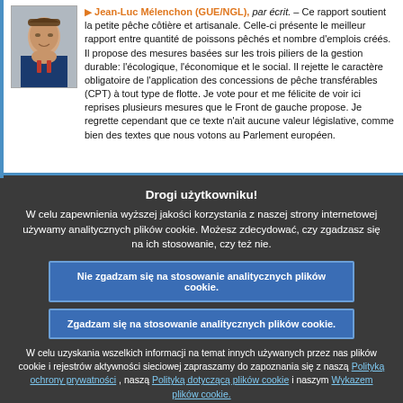Jean-Luc Mélenchon (GUE/NGL), par écrit. – Ce rapport soutient la petite pêche côtière et artisanale. Celle-ci présente le meilleur rapport entre quantité de poissons pêchés et nombre d'emplois créés. Il propose des mesures basées sur les trois piliers de la gestion durable: l'écologique, l'économique et le social. Il rejette le caractère obligatoire de l'application des concessions de pêche transférables (CPT) à tout type de flotte. Je vote pour et me félicite de voir ici reprises plusieurs mesures que le Front de gauche propose. Je regrette cependant que ce texte n'ait aucune valeur législative, comme bien des textes que nous votons au Parlement européen.
Drogi użytkowniku!
W celu zapewnienia wyższej jakości korzystania z naszej strony internetowej używamy analitycznych plików cookie. Możesz zdecydować, czy zgadzasz się na ich stosowanie, czy też nie.
Nie zgadzam się na stosowanie analitycznych plików cookie.
Zgadzam się na stosowanie analitycznych plików cookie.
W celu uzyskania wszelkich informacji na temat innych używanych przez nas plików cookie i rejestrów aktywności sieciowej zapraszamy do zapoznania się z naszą Polityką ochrony prywatności , naszą Polityką dotyczącą plików cookie i naszym Wykazem plików cookie.